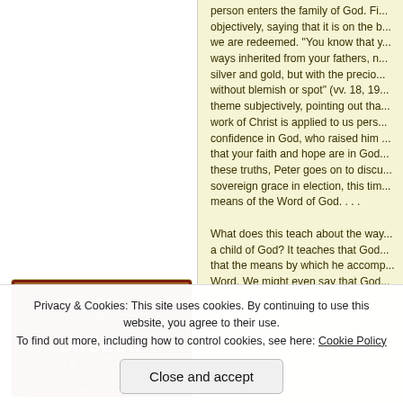[Figure (illustration): Book cover for 'Unseen Realities' with dark red background and angelic figure imagery]
person enters the family of God. Fi... objectively, saying that it is on the b... we are redeemed. "You know that y... ways inherited from your fathers, n... silver and gold, but with the precio... without blemish or spot" (vv. 18, 19... theme subjectively, pointing out tha... work of Christ is applied to us pers... confidence in God, who raised him ... that your faith and hope are in God... these truths, Peter goes on to discu... sovereign grace in election, this tim... means of the Word of God. . . .
What does this teach about the way... a child of God? It teaches that God... that the means by which he accomp... Word. We might even say that God...
Privacy & Cookies: This site uses cookies. By continuing to use this website, you agree to their use. To find out more, including how to control cookies, see here: Cookie Policy
Close and accept